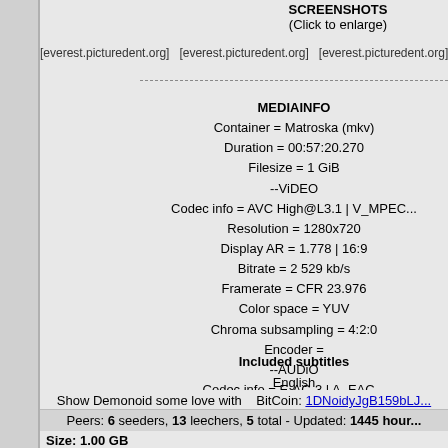SCREENSHOTS
(Click to enlarge)
[everest.picturedent.org]  [everest.picturedent.org]  [everest.picturedent.org]  [everest.picture...
MEDIAINFO
Container = Matroska (mkv)
Duration = 00:57:20.270
Filesize = 1 GiB
--ViDEO
Codec info = AVC High@L3.1 | V_MPEC...
Resolution = 1280x720
Display AR = 1.778 | 16:9
Bitrate = 2 529 kb/s
Framerate = CFR 23.976
Color space = YUV
Chroma subsampling = 4:2:0
Encoder =
--AUDiO
Codec info = E-AC-3 | A_EAC...
Channels = 6
Bitrate = CBR 640 kb/s
Samplerate = 48.0 kHz
Language = English
Included subtitles
English
Show Demonoid some love with     BitCoin: 1DNoidyJgB159bLJ...
Peers: 6 seeders, 13 leechers, 5 total - Updated: 1445 hour...
Size: 1.00 GB